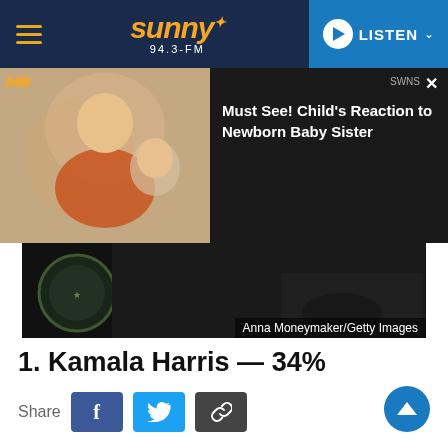sunny 94.3-FM | LISTEN
[Figure (screenshot): Video ad overlay: child with newborn baby sister. Title: Must See! Child's Reaction to Newborn Baby Sister]
[Figure (photo): Dark photo with presidential seal, credit: Anna Moneymaker/Getty Images]
1. Kamala Harris — 34%
Share
Kamala Harris, 57, is the first female vice president and the highest-ranking female official in U.S. history, as well as the first Black